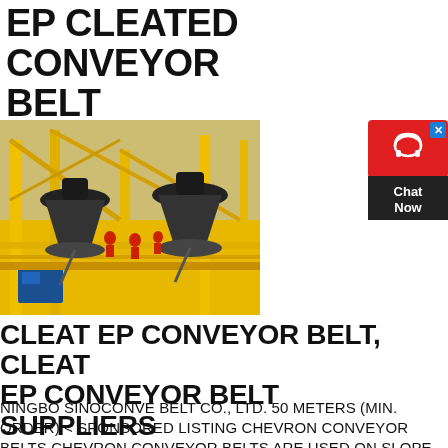EP CLEATED CONVEYOR BELT
[Figure (photo): Industrial yellow steel platform/structure with black machinery (cone crushers) and workers in red uniforms on an elevated walkway with yellow railings.]
[Figure (infographic): Red chat widget button with headset icon and 'Chat Now' text on dark background with blue X close button.]
CLEAT EP CONVEYOR BELT, CLEAT EP CONVEYOR BELT SUPPLIERS
NINGBO SINOCONVE BELT CO., LTD. 50 METERS (MIN. ORDER) < SPONSORED LISTING CHEVRON CONVEYOR BELTS CHEVRON CONVEYOR BELTS ARE USED ON SLOPE ANGLES UP TO APPROX. 30° FOR SLIGHTLY ROLLING